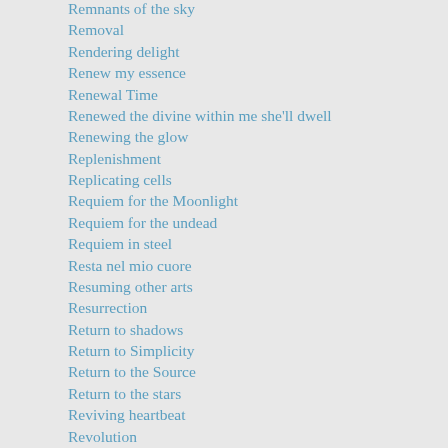Remnants of the sky
Removal
Rendering delight
Renew my essence
Renewal Time
Renewed the divine within me she'll dwell
Renewing the glow
Replenishment
Replicating cells
Requiem for the Moonlight
Requiem for the undead
Requiem in steel
Resta nel mio cuore
Resuming other arts
Resurrection
Return to shadows
Return to Simplicity
Return to the Source
Return to the stars
Reviving heartbeat
Revolution